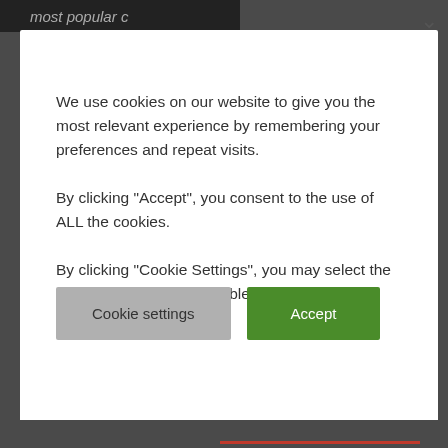most popular c
We use cookies on our website to give you the most relevant experience by remembering your preferences and repeat visits.
By clicking "Accept", you consent to the use of ALL the cookies.
By clicking "Cookie Settings", you may select the cookies you which to enable or disable.
Cookie settings
Accept